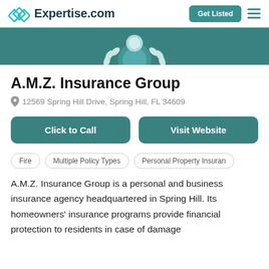Expertise.com  Get Listed
[Figure (illustration): Teal banner with a decorative laurel wreath emblem at the top]
A.M.Z. Insurance Group
12569 Spring Hill Drive, Spring Hill, FL 34609
Click to Call  Visit Website
Fire
Multiple Policy Types
Personal Property Insuran...
A.M.Z. Insurance Group is a personal and business insurance agency headquartered in Spring Hill. Its homeowners' insurance programs provide financial protection to residents in case of damage